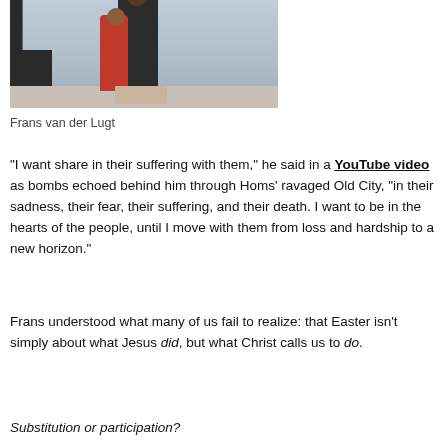[Figure (photo): Photo of a person in a red jacket hugging an adult dressed in dark clothing, indoors with a dark chair visible on the left and stone/tile flooring.]
Frans van der Lugt
“I want share in their suffering with them,” he said in a YouTube video as bombs echoed behind him through Homs’ ravaged Old City, “in their sadness, their fear, their suffering, and their death. I want to be in the hearts of the people, until I move with them from loss and hardship to a new horizon.”
Frans understood what many of us fail to realize: that Easter isn’t simply about what Jesus did, but what Christ calls us to do.
Substitution or participation?